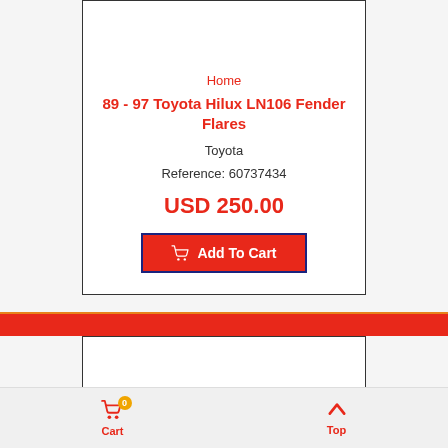Home
89 - 97 Toyota Hilux LN106 Fender Flares
Toyota
Reference: 60737434
USD 250.00
Add To Cart
Cart  Top